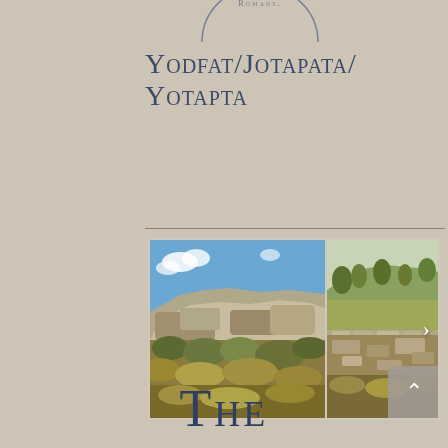[Figure (other): Partial circle/stamp graphic at top of page with text 'ROMANS']
Yodfat/Jotapata/Yotapta
[Figure (photo): Two side-by-side archaeological site photos showing rocky ruins with dry vegetation under blue sky (left) and rolling hills with stone walls (right). A right-arrow navigation button is visible on the right photo, and a scroll-up button is in the bottom-right corner.]
The